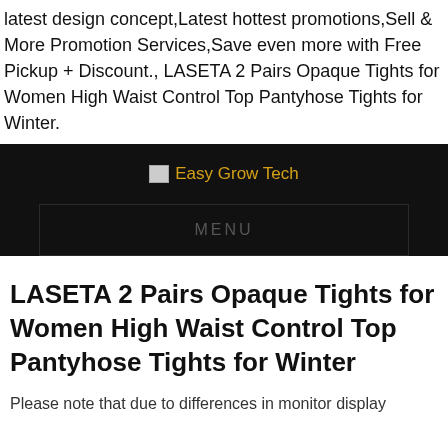latest design concept,Latest hottest promotions,Sell & More Promotion Services,Save even more with Free Pickup + Discount., LASETA 2 Pairs Opaque Tights for Women High Waist Control Top Pantyhose Tights for Winter.
[Figure (logo): Easy Grow Tech logo on dark background with navigation menu bar below]
LASETA 2 Pairs Opaque Tights for Women High Waist Control Top Pantyhose Tights for Winter
Please note that due to differences in monitor display